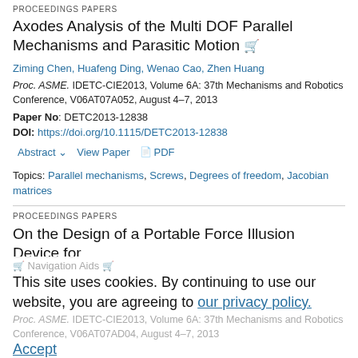PROCEEDINGS PAPERS
Axodes Analysis of the Multi DOF Parallel Mechanisms and Parasitic Motion
Ziming Chen, Huafeng Ding, Wenao Cao, Zhen Huang
Proc. ASME. IDETC-CIE2013, Volume 6A: 37th Mechanisms and Robotics Conference, V06AT07A052, August 4–7, 2013
Paper No: DETC2013-12838
DOI: https://doi.org/10.1115/DETC2013-12838
Abstract  View Paper  PDF
Topics: Parallel mechanisms, Screws, Degrees of freedom, Jacobian matrices
PROCEEDINGS PAPERS
On the Design of a Portable Force Illusion Device for
This site uses cookies. By continuing to use our website, you are agreeing to our privacy policy. Accept